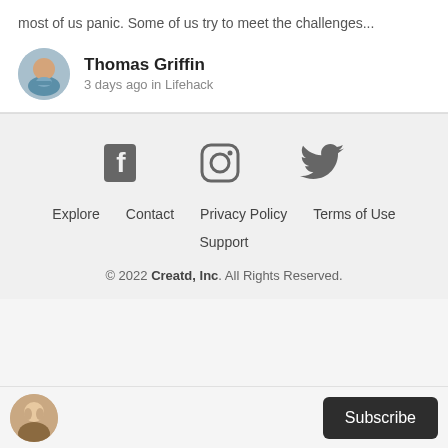most of us panic. Some of us try to meet the challenges...
Thomas Griffin
3 days ago in Lifehack
[Figure (illustration): Circular avatar photo of Thomas Griffin, a man in a light blue shirt]
Explore   Contact   Privacy Policy   Terms of Use   Support
© 2022 Creatd, Inc. All Rights Reserved.
[Figure (illustration): Social media icons: Facebook, Instagram, Twitter]
[Figure (illustration): Circular avatar photo of a woman at the bottom bar]
Subscribe